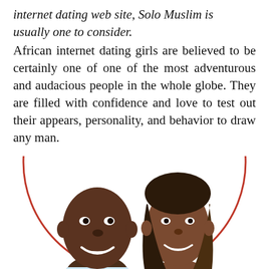internet dating web site, Solo Muslim is usually one to consider. African internet dating girls are believed to be certainly one of one of the most adventurous and audacious people in the whole globe. They are filled with confidence and love to test out their appears, personality, and behavior to draw any man.
[Figure (photo): A smiling couple — a man on the left and a woman on the right — posed together inside a red oval/circle border on a white background.]